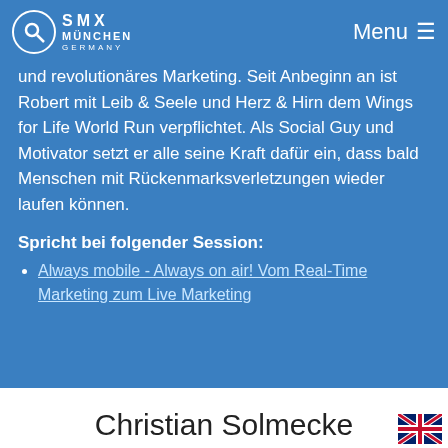SMX München Germany — Menu
und revolutionäres Marketing. Seit Anbeginn an ist Robert mit Leib & Seele und Herz & Hirn dem Wings for Life World Run verpflichtet. Als Social Guy und Motivator setzt er alle seine Kraft dafür ein, dass bald Menschen mit Rückenmarksverletzungen wieder laufen können.
Spricht bei folgender Session:
Always mobile - Always on air! Vom Real-Time Marketing zum Live Marketing
Christian Solmecke
Rechtsanwalt, Partner
WILDE BEUGER SOLMECKE